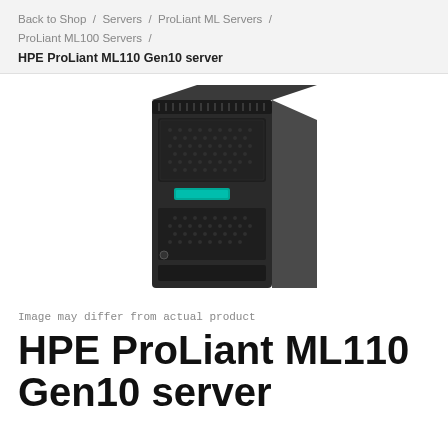Back to Shop / Servers / ProLiant ML Servers / ProLiant ML100 Servers /
HPE ProLiant ML110 Gen10 server
[Figure (photo): HPE ProLiant ML110 Gen10 tower server unit, dark charcoal/black color, front-facing view showing ventilation mesh, teal HPE indicator light, and side panel.]
Image may differ from actual product
HPE ProLiant ML110 Gen10 server